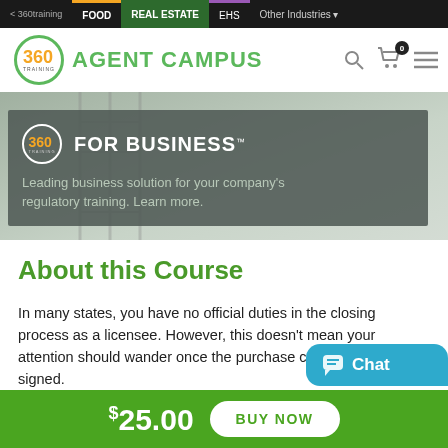< 360training | FOOD | REAL ESTATE | EHS | Other Industries
[Figure (screenshot): 360 Training Agent Campus logo header with search and cart icons]
[Figure (screenshot): 360 for Business banner overlay on gray background with text: Leading business solution for your company's regulatory training. Learn more.]
About this Course
In many states, you have no official duties in the closing process as a licensee. However, this doesn't mean your attention should wander once the purchase contract is signed.
$25.00  BUY NOW